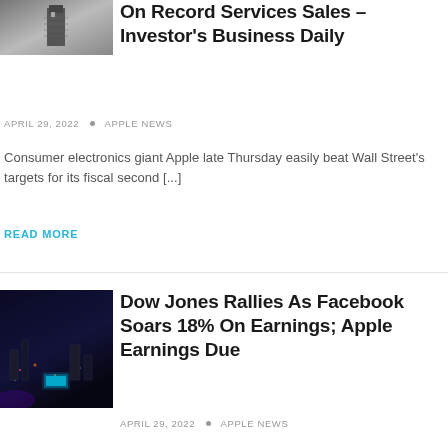[Figure (photo): Black and white photo of a lighthouse]
On Record Services Sales – Investor's Business Daily
APRIL 29, 2022  •  APPLE NEWS
Consumer electronics giant Apple late Thursday easily beat Wall Street's targets for its fiscal second [...]
READ MORE
[Figure (photo): Night cityscape with neon lights photo]
Dow Jones Rallies As Facebook Soars 18% On Earnings; Apple Earnings Due
APRIL 29, 2022  •  APPLE NEWS